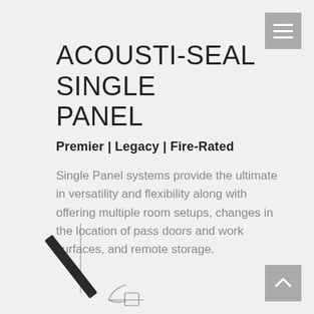ACOUSTI-SEAL SINGLE PANEL
Premier | Legacy | Fire-Rated
Single Panel systems provide the ultimate in versatility and flexibility along with offering multiple room setups, changes in the location of pass doors and work surfaces, and remote storage.
[Figure (engineering-diagram): Partial cross-section engineering diagram of an Acousti-Seal Single Panel system showing a diagonal panel element with hardware detail at bottom right, with a vertical reference line.]